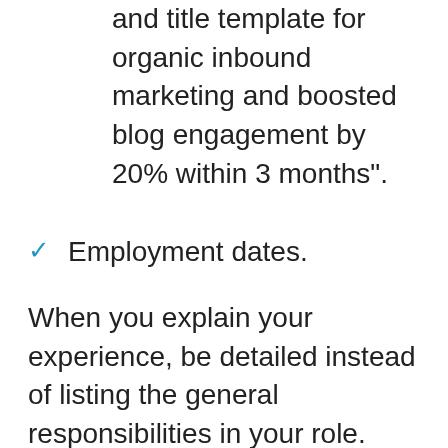and title template for organic inbound marketing and boosted blog engagement by 20% within 3 months".
Employment dates.
When you explain your experience, be detailed instead of listing the general responsibilities in your role. You want the recruiter to know what you accomplished and distinguish yourself from the crowd. You can also state your proficiency level based on the NIH Proficiency Scale.
Remember to tailor your resume to the role